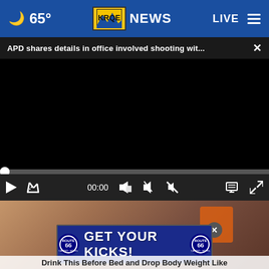65° KRQE NEWS LIVE
APD shares details in office involved shooting wit... ×
[Figure (screenshot): Black video player screen, currently paused at 00:00 with progress bar and playback controls]
[Figure (photo): Partial image below video player showing brown/earthy tones with an orange object, partially obscured by ad overlay]
[Figure (other): Advertisement banner: Route 66 Casino Hotel - GET YOUR KICKS! with Route 66 shield logos on both sides]
Drink This Before Bed and Drop Body Weight Like